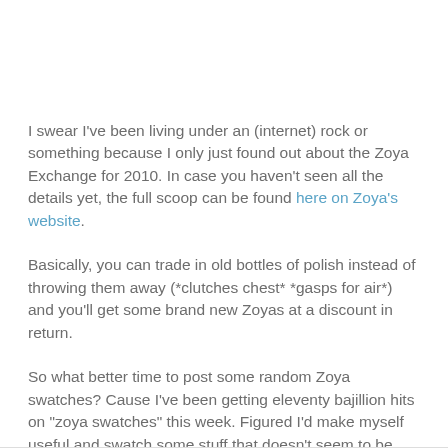I swear I've been living under an (internet) rock or something because I only just found out about the Zoya Exchange for 2010. In case you haven't seen all the details yet, the full scoop can be found here on Zoya's website.
Basically, you can trade in old bottles of polish instead of throwing them away (*clutches chest* *gasps for air*) and you'll get some brand new Zoyas at a discount in return.
So what better time to post some random Zoya swatches? Cause I've been getting eleventy bajillion hits on "zoya swatches" this week. Figured I'd make myself useful and swatch some stuff that doesn't seem to be swatched as often as the Zoya superstars like Yasmeen and whatnot.
Here goes...